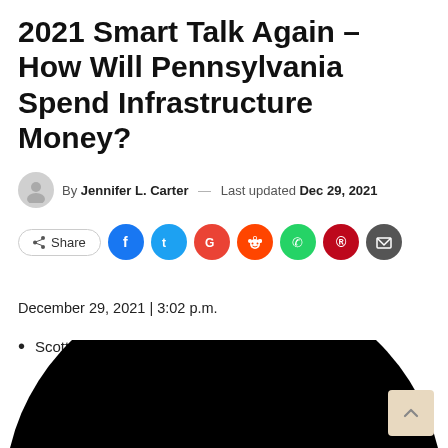2021 Smart Talk Again – How Will Pennsylvania Spend Infrastructure Money?
By Jennifer L. Carter — Last updated Dec 29, 2021
[Figure (infographic): Social share bar with Share button and icons for Facebook, Twitter, Google, Reddit, WhatsApp, Pinterest, Email]
December 29, 2021 | 3:02 p.m.
Scott LaMar
[Figure (logo): Large black arc/horseshoe logo shape with a square at the bottom center, partially visible at the bottom of the page]